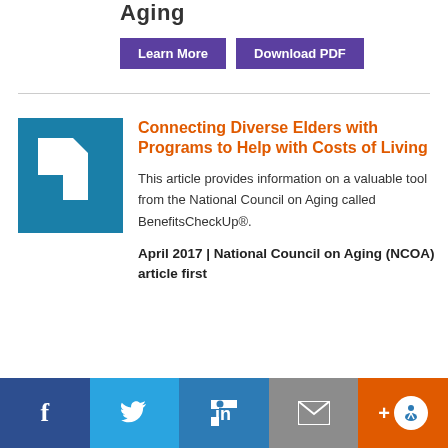Aging
Learn More   Download PDF
[Figure (logo): NCOA logo: blue square with white document icon cut-out]
Connecting Diverse Elders with Programs to Help with Costs of Living
This article provides information on a valuable tool from the National Council on Aging called BenefitsCheckUp®.
April 2017 | National Council on Aging (NCOA) article first
Facebook  Twitter  LinkedIn  Email  + Accessibility